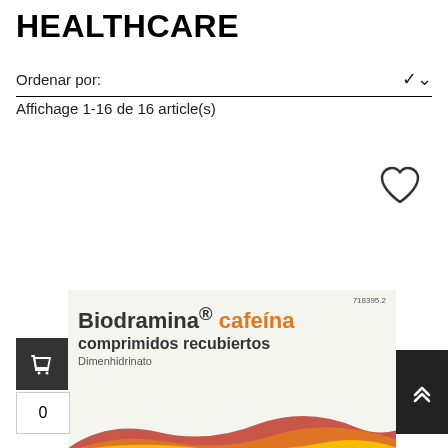HEALTHCARE
Ordenar por:
Affichage 1-16 de 16 article(s)
[Figure (other): Heart/wishlist icon (outline heart shape)]
[Figure (photo): Product packaging for Biodramina cafeína comprimidos recubiertos, Dimenhidrinato. Package number 718395.2. Features yellow, orange and red wave design on a light grey box.]